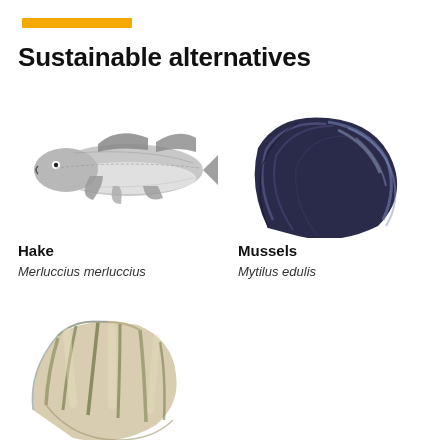Sustainable alternatives
[Figure (illustration): Illustration of a hake fish (Merluccius merluccius), grey-silver, viewed from the side]
[Figure (illustration): Illustration of a blue mussel (Mytilus edulis), dark blue-grey shell, viewed from above at an angle]
Hake
Merluccius merluccius
Mussels
Mytilus edulis
[Figure (illustration): Illustration of a scallop or similar bivalve shell, viewed from top, showing ribbed texture with blue-green and cream coloring]